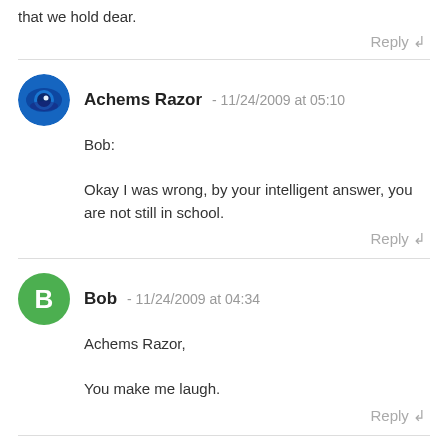that we hold dear.
Reply ↲
Achems Razor - 11/24/2009 at 05:10
Bob:

Okay I was wrong, by your intelligent answer, you are not still in school.
Reply ↲
Bob - 11/24/2009 at 04:34
Achems Razor,

You make me laugh.
Reply ↲
peas - 11/23/2009 at 23:10
This documentary started out really well, very